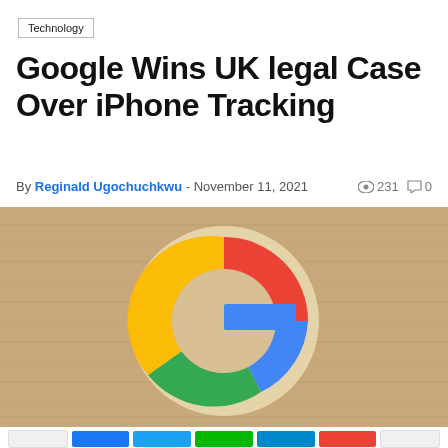Technology
Google Wins UK legal Case Over iPhone Tracking
By Reginald Ugochuchkwu - November 11, 2021   👁 231  💬 0
[Figure (photo): Google logo illuminated sign on a wooden background, showing the colorful G logo in red, orange, green, and blue on a warm wood-paneled wall.]